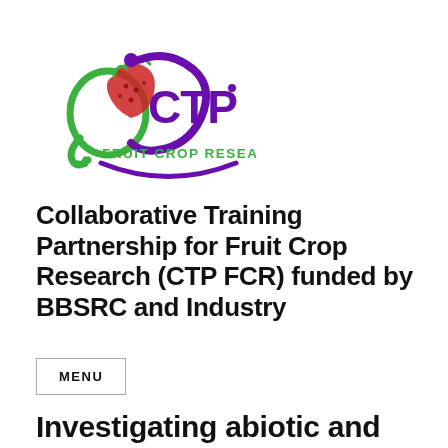[Figure (logo): CTP Fruit Crop Research logo with green and red fruit/snake motif, purple CTP text with dot, and purple underline arc, green text FRUIT CROP RESEARCH below]
Collaborative Training Partnership for Fruit Crop Research (CTP FCR) funded by BBSRC and Industry
MENU
Investigating abiotic and